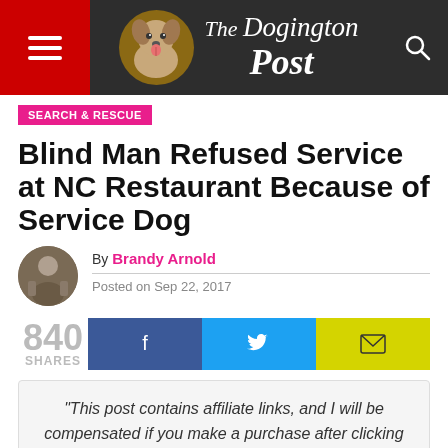The Dogington Post
SEARCH & RESCUE
Blind Man Refused Service at NC Restaurant Because of Service Dog
By Brandy Arnold
Posted on Sep 22, 2017
840 SHARES
“This post contains affiliate links, and I will be compensated if you make a purchase after clicking on my links.”